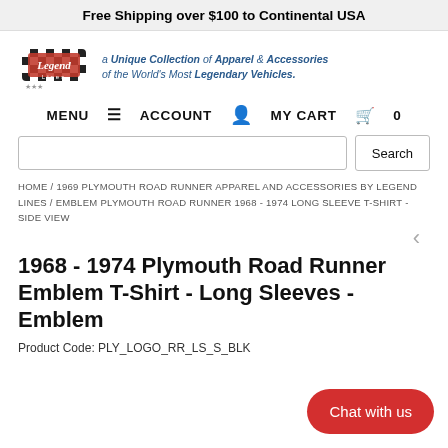Free Shipping over $100 to Continental USA
[Figure (logo): Legend Lines logo with checkered flag design and script text]
a Unique Collection of Apparel & Accessories of the World's Most Legendary Vehicles.
MENU  ACCOUNT  MY CART  0
Search
HOME / 1969 PLYMOUTH ROAD RUNNER APPAREL AND ACCESSORIES BY LEGEND LINES / EMBLEM PLYMOUTH ROAD RUNNER 1968 - 1974 LONG SLEEVE T-SHIRT - SIDE VIEW
1968 - 1974 Plymouth Road Runner Emblem T-Shirt - Long Sleeves - Emblem
Product Code: PLY_LOGO_RR_LS_S_BLK